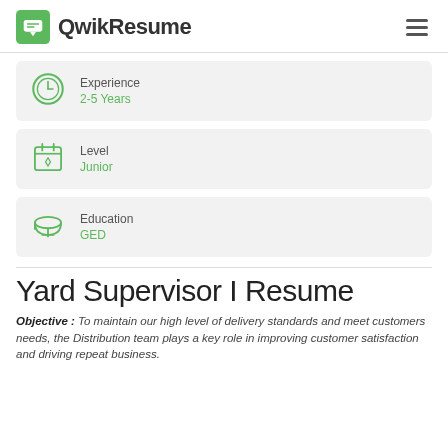QwikResume
Experience
2-5 Years
Level
Junior
Education
GED
Yard Supervisor I Resume
Objective : To maintain our high level of delivery standards and meet customers needs, the Distribution team plays a key role in improving customer satisfaction and driving repeat business.